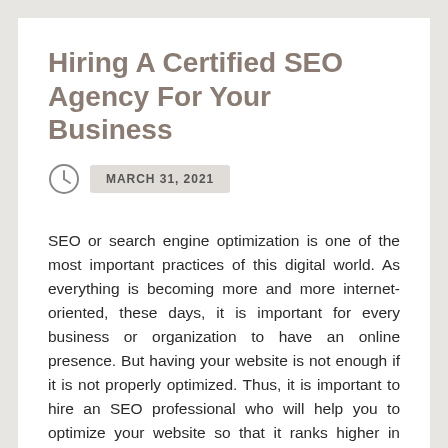Hiring A Certified SEO Agency For Your Business
MARCH 31, 2021
SEO or search engine optimization is one of the most important practices of this digital world. As everything is becoming more and more internet-oriented, these days, it is important for every business or organization to have an online presence. But having your website is not enough if it is not properly optimized. Thus, it is important to hire an SEO professional who will help you to optimize your website so that it ranks higher in SERP (search engine result pages). This can increase the quality as well as the quantity of traffic to your website through organic search results.